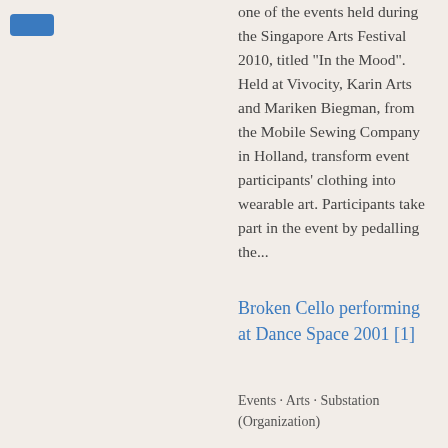[Figure (other): Blue rounded rectangle tag/button element]
one of the events held during the Singapore Arts Festival 2010, titled "In the Mood". Held at Vivocity, Karin Arts and Mariken Biegman, from the Mobile Sewing Company in Holland, transform event participants' clothing into wearable art. Participants take part in the event by pedalling the...
Broken Cello performing at Dance Space 2001 [1]
Events · Arts · Substation (Organization)